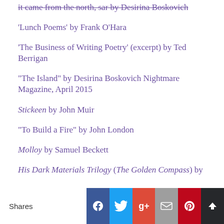'Lunch Poems' by Frank O'Hara
'The Business of Writing Poetry' (excerpt) by Ted Berrigan
“The Island” by Desirina Boskovich Nightmare Magazine, April 2015
Stickeen by John Muir
“To Build a Fire” by John London
Molloy by Samuel Beckett
His Dark Materials Trilogy (The Golden Compass) by